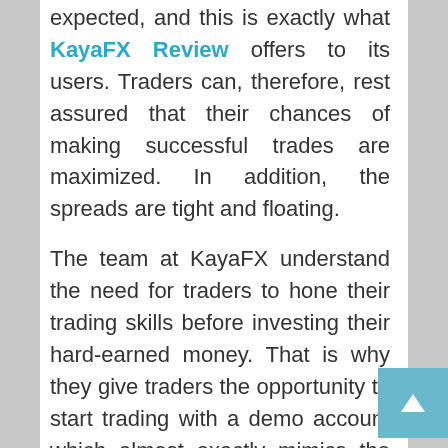expected, and this is exactly what KayaFX Review offers to its users. Traders can, therefore, rest assured that their chances of making successful trades are maximized. In addition, the spreads are tight and floating.

The team at KayaFX understand the need for traders to hone their trading skills before investing their hard-earned money. That is why they give traders the opportunity to start trading with a demo account which almost exactly mimics the real account. By doing this, users can make their mistakes while learning the ropes through the use of the demo. As soon as they feel competent enough to invest real funds, they are able to